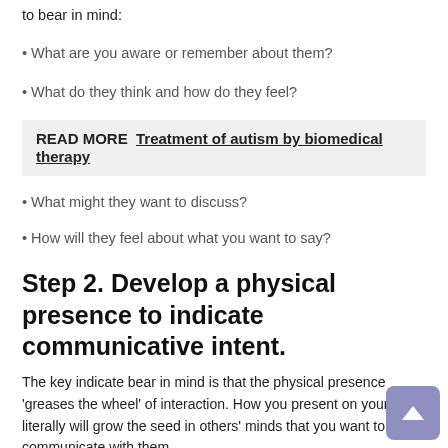to bear in mind:
• What are you aware or remember about them?
• What do they think and how do they feel?
READ MORE  Treatment of autism by biomedical therapy
• What might they want to discuss?
• How will they feel about what you want to say?
Step 2. Develop a physical presence to indicate communicative intent.
The key indicate bear in mind is that the physical presence 'greases the wheel' of interaction. How you present on your own literally will grow the seed in others' minds that you want to communicate with them.